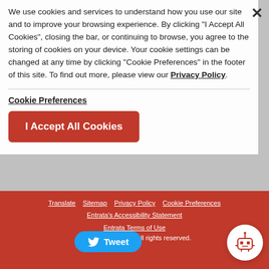We use cookies and services to understand how you use our site and to improve your browsing experience. By clicking "I Accept All Cookies", closing the bar, or continuing to browse, you agree to the storing of cookies on your device. Your cookie settings can be changed at any time by clicking "Cookie Preferences" in the footer of this site. To find out more, please view our Privacy Policy.
Cookie Preferences
I Accept All Cookies
Translate | Sitemap | Privacy Policy | Cookie Preferences | Entrata's Accessibility Statement | Entrata Terms of Use | ©2022 Entrata, Inc. All rights reserved.